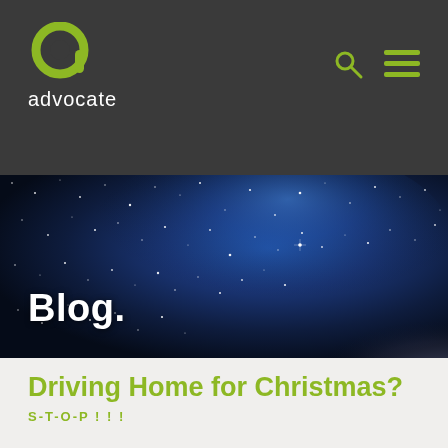advocate
[Figure (photo): Night sky with Milky Way galaxy, stars and nebula, dark blue and purple tones, hero banner image]
Blog.
Driving Home for Christmas?
S-T-O-P ! ! !